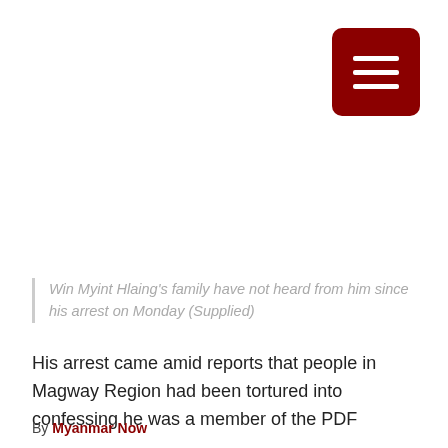[Figure (other): Dark red hamburger menu button icon in top right corner]
Win Myint Hlaing's family have not heard from him since his arrest on Monday (Supplied)
His arrest came amid reports that people in Magway Region had been tortured into confessing he was a member of the PDF
By Myanmar Now